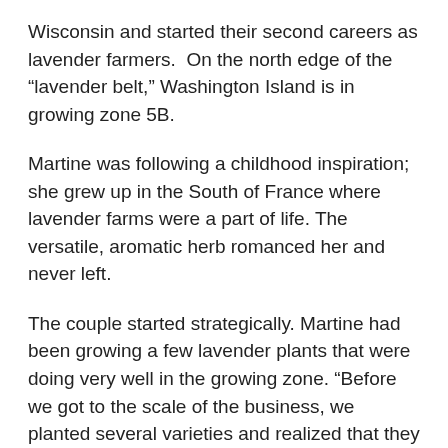Wisconsin and started their second careers as lavender farmers.  On the north edge of the “lavender belt,” Washington Island is in growing zone 5B.
Martine was following a childhood inspiration; she grew up in the South of France where lavender farms were a part of life. The versatile, aromatic herb romanced her and never left.
The couple started strategically. Martine had been growing a few lavender plants that were doing very well in the growing zone. “Before we got to the scale of the business, we planted several varieties and realized that they could survive,” says Edgar. “But, before we started the farm, we did a lot of research with the University of Washington, talked to growers, talked to researchers and compared notes on soil samples, climate data.”